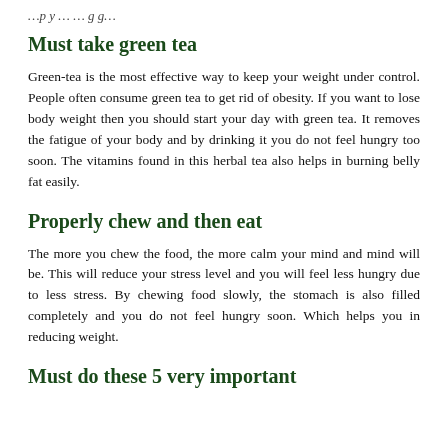…p y … … g g…
Must take green tea
Green-tea is the most effective way to keep your weight under control. People often consume green tea to get rid of obesity. If you want to lose body weight then you should start your day with green tea. It removes the fatigue of your body and by drinking it you do not feel hungry too soon. The vitamins found in this herbal tea also helps in burning belly fat easily.
Properly chew and then eat
The more you chew the food, the more calm your mind and mind will be. This will reduce your stress level and you will feel less hungry due to less stress. By chewing food slowly, the stomach is also filled completely and you do not feel hungry soon. Which helps you in reducing weight.
Must do these 5 very important